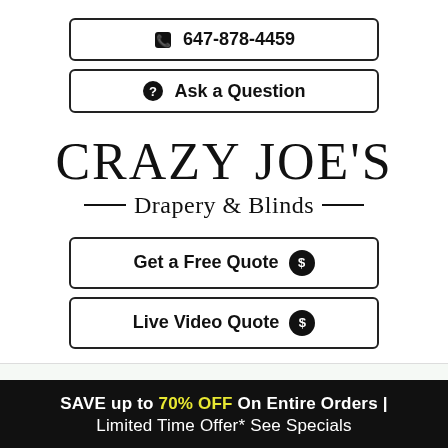📞 647-878-4459
❓ Ask a Question
CRAZY JOE'S — Drapery & Blinds —
Get a Free Quote 💬
Live Video Quote 💬
[Figure (other): Hamburger menu icon (three horizontal lines)]
SAVE up to 70% OFF On Entire Orders | Limited Time Offer* See Specials